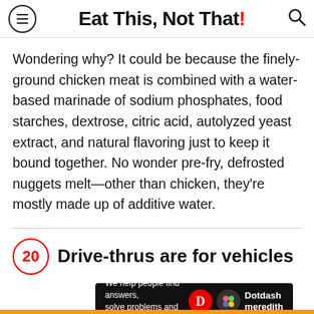Eat This, Not That!
Wondering why? It could be because the finely-ground chicken meat is combined with a water-based marinade of sodium phosphates, food starches, dextrose, citric acid, autolyzed yeast extract, and natural flavoring just to keep it bound together. No wonder pre-fry, defrosted nuggets melt—other than chicken, they're mostly made up of additive water.
20 Drive-thrus are for vehicles
[Figure (other): Dotdash Meredith advertisement banner with text 'We help people find answers, solve problems and get inspired.']